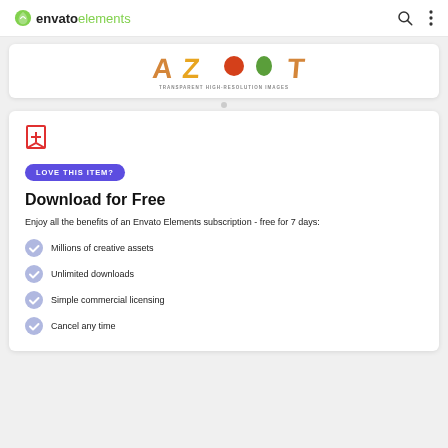envato elements
[Figure (screenshot): Partial preview of a colorful alphabet/food graphic with text 'TRANSPARENT HIGH-RESOLUTION IMAGES']
LOVE THIS ITEM?
Download for Free
Enjoy all the benefits of an Envato Elements subscription - free for 7 days:
Millions of creative assets
Unlimited downloads
Simple commercial licensing
Cancel any time